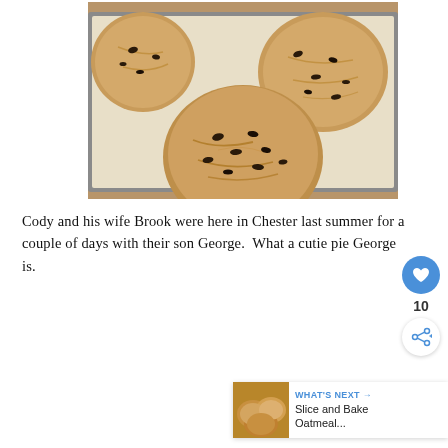[Figure (photo): Chocolate chip cookies on a baking sheet lined with parchment paper, viewed from above at an angle. Several large, chewy-looking cookies with chocolate chips visible.]
Cody and his wife Brook were here in Chester last summer for a couple of days with their son George. What a cutie pie George is.
[Figure (other): What's Next widget showing a thumbnail of oatmeal cookies and text: 'Slice and Bake Oatmeal...']